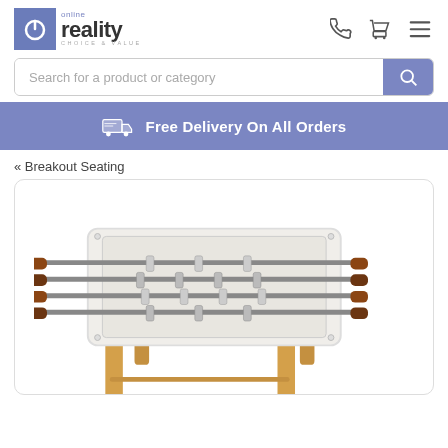[Figure (logo): Online Reality logo with power button icon and tagline 'Choice & Value']
Search for a product or category
Free Delivery On All Orders
« Breakout Seating
[Figure (photo): A white foosball table with wooden legs and multiple player rods, viewed from an elevated angle]